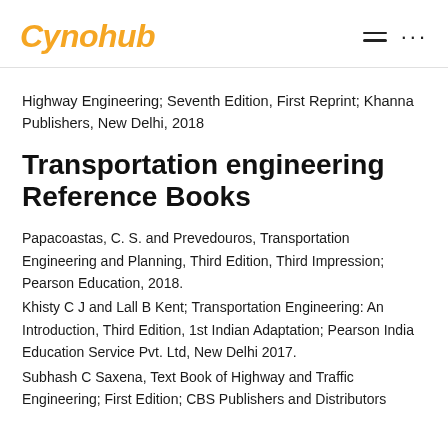Cynohub
Highway Engineering; Seventh Edition, First Reprint; Khanna Publishers, New Delhi, 2018
Transportation engineering Reference Books
Papacoastas, C. S. and Prevedouros, Transportation Engineering and Planning, Third Edition, Third Impression; Pearson Education, 2018.
Khisty C J and Lall B Kent; Transportation Engineering: An Introduction, Third Edition, 1st Indian Adaptation; Pearson India Education Service Pvt. Ltd, New Delhi 2017.
Subhash C Saxena, Text Book of Highway and Traffic Engineering; First Edition; CBS Publishers and Distributors